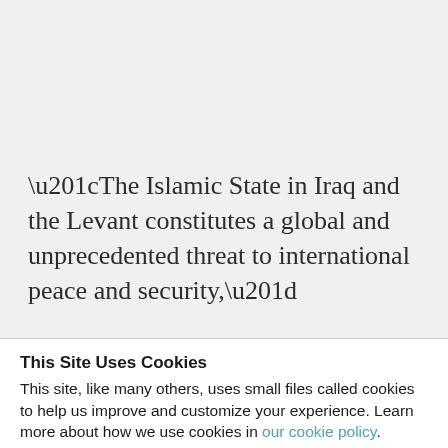“The Islamic State in Iraq and the Levant constitutes a global and unprecedented threat to international peace and security,”
This Site Uses Cookies
This site, like many others, uses small files called cookies to help us improve and customize your experience. Learn more about how we use cookies in our cookie policy.
Learn more about cookies    OK